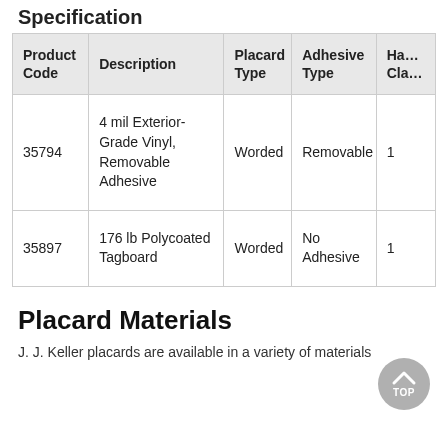Specification
| Product Code | Description | Placard Type | Adhesive Type | Ha… Cla… |
| --- | --- | --- | --- | --- |
| 35794 | 4 mil Exterior-Grade Vinyl, Removable Adhesive | Worded | Removable | 1 |
| 35897 | 176 lb Polycoated Tagboard | Worded | No Adhesive | 1 |
Placard Materials
J. J. Keller placards are available in a variety of materials